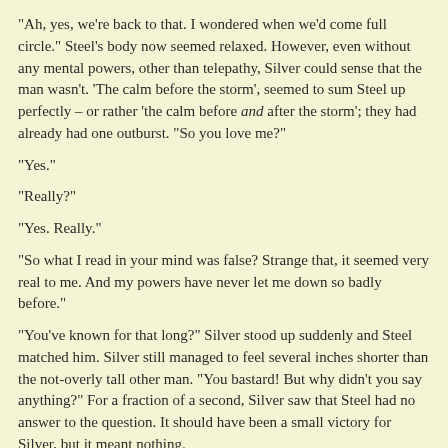"Ah, yes, we're back to that. I wondered when we'd come full circle." Steel's body now seemed relaxed. However, even without any mental powers, other than telepathy, Silver could sense that the man wasn't. 'The calm before the storm', seemed to sum Steel up perfectly – or rather 'the calm before and after the storm'; they had already had one outburst. "So you love me?"
"Yes."
"Really?"
"Yes. Really."
"So what I read in your mind was false? Strange that, it seemed very real to me. And my powers have never let me down so badly before."
"You've known for that long?" Silver stood up suddenly and Steel matched him. Silver still managed to feel several inches shorter than the not-overly tall other man. "You bastard! But why didn't you say anything?" For a fraction of a second, Silver saw that Steel had no answer to the question. It should have been a small victory for Silver, but it meant nothing.
"Well?" Steel regained the upper hand and ignored Silver's outburst.
Silver frantically recalled Steel's question. "Yes. No. That is . . ." Finally defeated, Silver threw his hands up in the air, and sank down onto the sofa; the floor neither groaned nor moved. He sensed Steel watching him, waiting, like a wild animal teasing its prey.